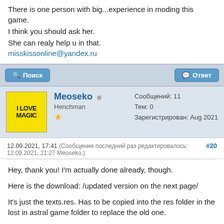Hello.
There is one person with big...experience in moding this game.
I think you should ask her.
She can realy help u in that.
misskissonline@yandex.ru
Поиск
Ответ
Meoseko  Henchman ★
Сообщений: 11
Тем: 0
Зарегистрирован: Aug 2021
12.09.2021, 17:41 (Сообщение последний раз редактировалось: 12.09.2021, 21:27 Meoseko.) #20
Hey, thank you! I'm actually done already, though.

Here is the download: /updated version on the next page/

It's just the texts.res. Has to be copied into the res folder in the lost in astral game folder to replace the old one.